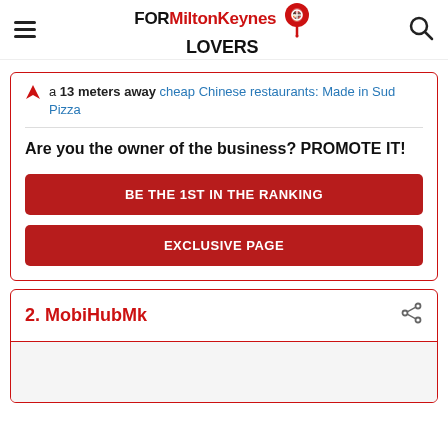FOR Milton Keynes LOVERS
a 13 meters away cheap Chinese restaurants: Made in Sud Pizza
Are you the owner of the business? PROMOTE IT!
BE THE 1ST IN THE RANKING
EXCLUSIVE PAGE
2. MobiHubMk